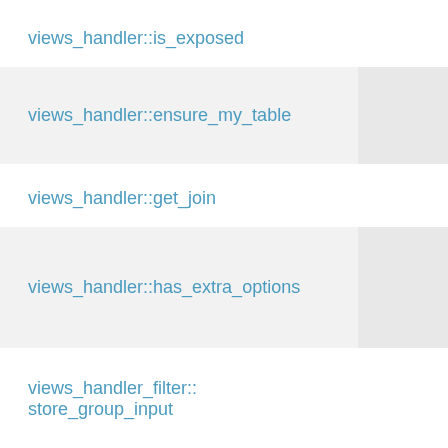views_handler::is_exposed
views_handler::ensure_my_table
views_handler::get_join
views_handler::has_extra_options
views_handler_filter::
store_group_input